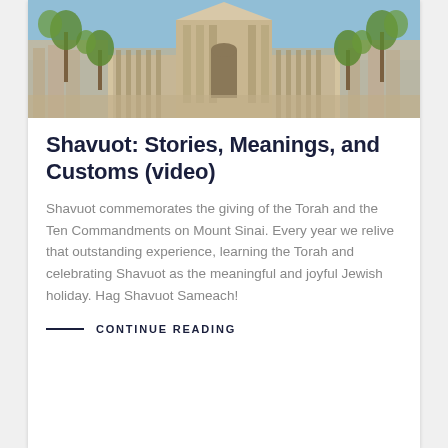[Figure (photo): Aerial/overhead view of a reconstructed ancient Jewish Temple (Second Temple) with palm trees, stone architecture, colonnades and courtyards.]
Shavuot: Stories, Meanings, and Customs (video)
Shavuot commemorates the giving of the Torah and the Ten Commandments on Mount Sinai. Every year we relive that outstanding experience, learning the Torah and celebrating Shavuot as the meaningful and joyful Jewish holiday. Hag Shavuot Sameach!
CONTINUE READING